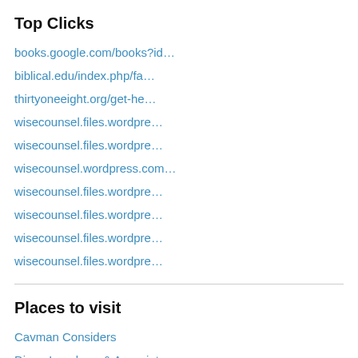Top Clicks
books.google.com/books?id…
biblical.edu/index.php/fa…
thirtyoneeight.org/get-he…
wisecounsel.files.wordpre…
wisecounsel.files.wordpre…
wisecounsel.wordpress.com…
wisecounsel.files.wordpre…
wisecounsel.files.wordpre…
wisecounsel.files.wordpre…
wisecounsel.files.wordpre…
Places to visit
Cavman Considers
Diane Langberg & Associates
G.R.A.C.E.
Global Trauma Recovery Institute